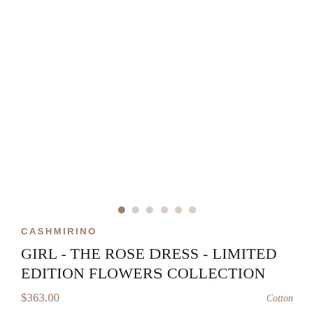[Figure (photo): Product image area (white/blank) with carousel navigation dots showing 5 dots, first dot active in brown/taupe color]
CASHMIRINO
GIRL - THE ROSE DRESS - LIMITED EDITION FLOWERS COLLECTION
$363.00
Cotton